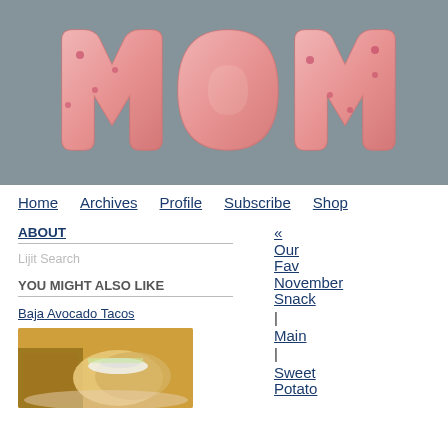[Figure (photo): Photo of pink frosted letter-shaped cookies spelling MOM on a grey surface]
Home   Archives   Profile   Subscribe   Shop
ABOUT
Lijit Search
YOU MIGHT ALSO LIKE
Baja Avocado Tacos
[Figure (photo): Photo of Baja Avocado Tacos with rice and beans]
« Our Fav November Snack | Main | Sweet Potato